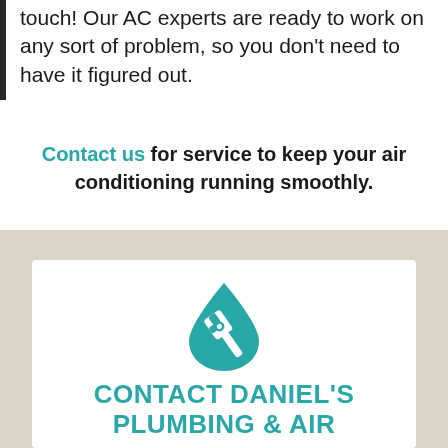touch! Our AC experts are ready to work on any sort of problem, so you don't need to have it figured out.
Contact us for service to keep your air conditioning running smoothly.
[Figure (logo): Daniel's Plumbing & Air logo — a teal water drop shape containing a white pipe wrench icon]
CONTACT DANIEL'S PLUMBING & AIR